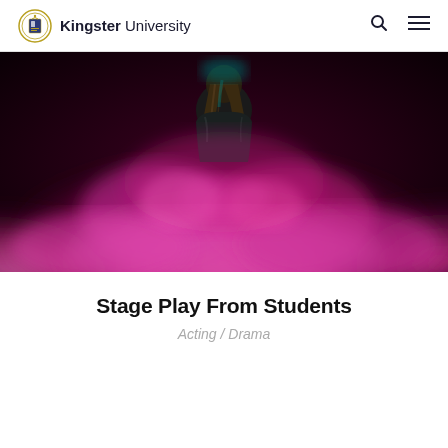Kingster University
[Figure (photo): A person with long hair in a dark jacket surrounded by dramatic pink/magenta smoke clouds against a dark background]
Stage Play From Students
Acting / Drama